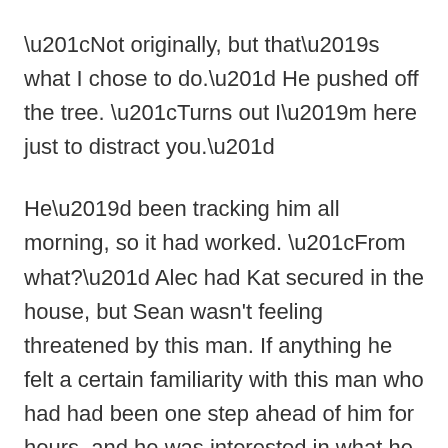“Not originally, but that’s what I chose to do.” He pushed off the tree. “Turns out I’m here just to distract you.”
He’d been tracking him all morning, so it had worked. “From what?” Alec had Kat secured in the house, but Sean wasn't feeling threatened by this man. If anything he felt a certain familiarity with this man who had had been one step ahead of him for hours, and he was interested in what he had to say.
“She wants Everett.”
“He didn’t—” Sean started. “She knows—”